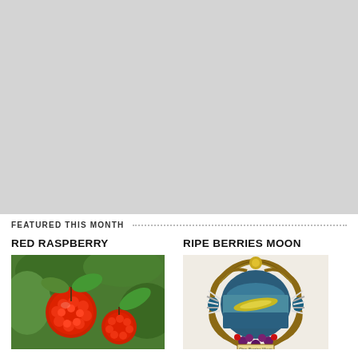[Figure (photo): Large gray placeholder image at the top of the page]
FEATURED THIS MONTH
RED RASPBERRY
[Figure (photo): Photo of red raspberries on the vine with green leaves]
RIPE BERRIES MOON
[Figure (illustration): Decorative illustration of a circular mosaic or jeweled pendant with berries, feathers and ornate design]